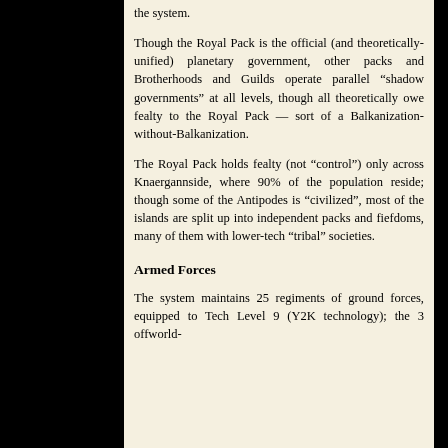the system.
Though the Royal Pack is the official (and theoretically-unified) planetary government, other packs and Brotherhoods and Guilds operate parallel “shadow governments” at all levels, though all theoretically owe fealty to the Royal Pack — sort of a Balkanization-without-Balkanization.
The Royal Pack holds fealty (not “control”) only across Knaergannside, where 90% of the population reside; though some of the Antipodes is “civilized”, most of the islands are split up into independent packs and fiefdoms, many of them with lower-tech “tribal” societies.
Armed Forces
The system maintains 25 regiments of ground forces, equipped to Tech Level 9 (Y2K technology); the 3 offworld-